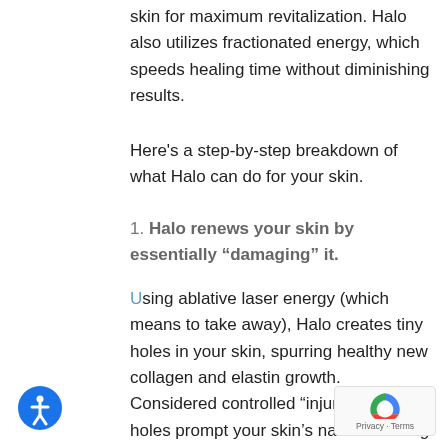skin for maximum revitalization. Halo also utilizes fractionated energy, which speeds healing time without diminishing results.
Here's a step-by-step breakdown of what Halo can do for your skin.
1. Halo renews your skin by essentially “damaging” it.
Using ablative laser energy (which means to take away), Halo creates tiny holes in your skin, spurring healthy new collagen and elastin growth. Considered controlled “injuries,” these holes prompt your skin’s natural healing response to grow refreshed, new skin with a wide range of improvements, including smoother texture, smaller pore size, and diminished lines.